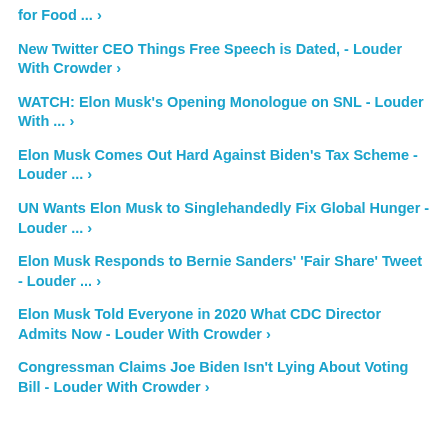for Food ... ›
New Twitter CEO Things Free Speech is Dated, - Louder With Crowder ›
WATCH: Elon Musk's Opening Monologue on SNL - Louder With ... ›
Elon Musk Comes Out Hard Against Biden's Tax Scheme - Louder ... ›
UN Wants Elon Musk to Singlehandedly Fix Global Hunger - Louder ... ›
Elon Musk Responds to Bernie Sanders' 'Fair Share' Tweet - Louder ... ›
Elon Musk Told Everyone in 2020 What CDC Director Admits Now - Louder With Crowder ›
Congressman Claims Joe Biden Isn't Lying About Voting Bill - Louder With Crowder ›